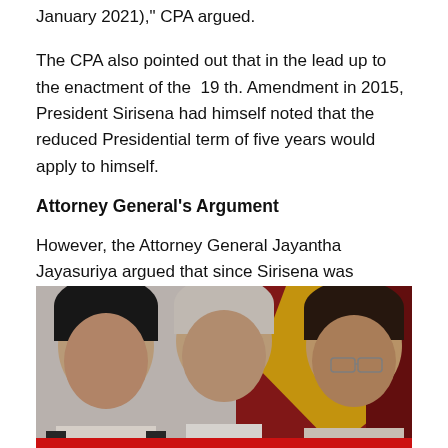January 2021)," CPA argued.
The CPA also pointed out that in the lead up to the enactment of the 19 th. Amendment in 2015, President Sirisena had himself noted that the reduced Presidential term of five years would apply to himself.
Attorney General's Argument
However, the Attorney General Jayantha Jayasuriya argued that since Sirisena was elected for a six year term by a nation-wide popular vote on January 9, 2015 prior to the enactment of the 19A, he had a popular mandate to complete the six year term.
[Figure (photo): Three men photographed together, likely political figures. A red and yellow flag is visible in the background. A red bar appears at the bottom of the image.]